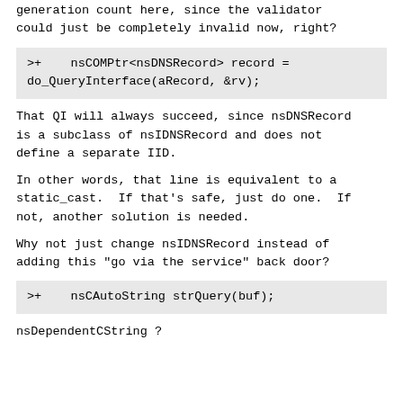generation count here, since the validator could just be completely invalid now, right?
>+    nsCOMPtr<nsDNSRecord> record =
do_QueryInterface(aRecord, &rv);
That QI will always succeed, since nsDNSRecord is a subclass of nsIDNSRecord and does not define a separate IID.
In other words, that line is equivalent to a static_cast.  If that's safe, just do one.  If not, another solution is needed.
Why not just change nsIDNSRecord instead of adding this "go via the service" back door?
>+    nsCAutoString strQuery(buf);
nsDependentCString ?